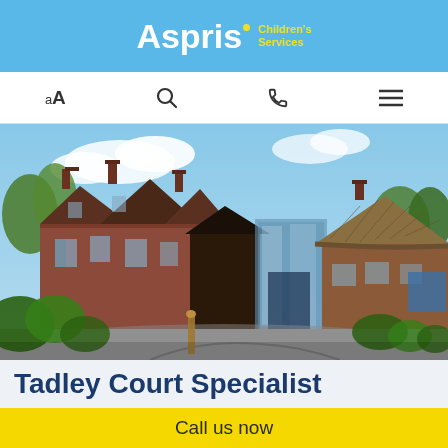Aspris Children's Services
[Figure (screenshot): Navigation bar with text size (AA), search, phone, and menu icons on white background]
[Figure (photo): Exterior photograph of Tadley Court Specialist school building — red brick Victorian-style structure with multiple chimneys, a modern glass entrance extension, thatched outbuilding to the right, paved driveway, and landscaped grounds under a blue sky with clouds]
Tadley Court Specialist
Call us now